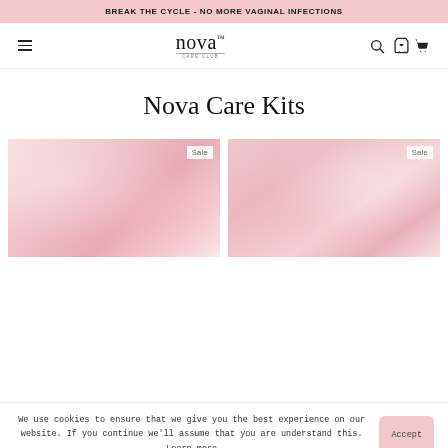BREAK THE CYCLE - NO MORE VAGINAL INFECTIONS
[Figure (logo): Nova Care Club logo with stylized italic text and 'CARE CLUB' subtitle]
Nova Care Kits
[Figure (photo): Product card with pink floral background and Sale badge]
[Figure (photo): Product card with pink floral background and Sale badge]
We use cookies to ensure that we give you the best experience on our website. If you continue we'll assume that you are understand this. Learn more